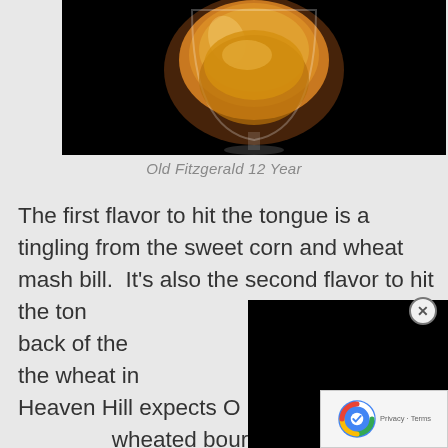[Figure (photo): Photo of a glass of whiskey (Old Fitzgerald 12 Year bourbon) on a dark background, showing amber/golden liquid in a rounded glass.]
Old Fitzgerald 12 Year
The first flavor to hit the tongue is a tingling from the sweet corn and wheat mash bill.  It's also the second flavor to hit the tongue, as the corn remains to the back of the throat.  There's a subtle use of the wheat in the mash bill, but that Heaven Hill expects Old Fitzgerald to carry the wheated bourbon banner and they're not going to let you forget it.   Nevertheless, it isn't an unpleasant flavor or sensation at all, it's just different.  And it's overriding.   The wheat not only impacts the flavor, but the creaminess of the
[Figure (other): Black overlay rectangle (popup/ad blocker covering part of the text)]
[Figure (other): reCAPTCHA privacy badge in bottom right corner]